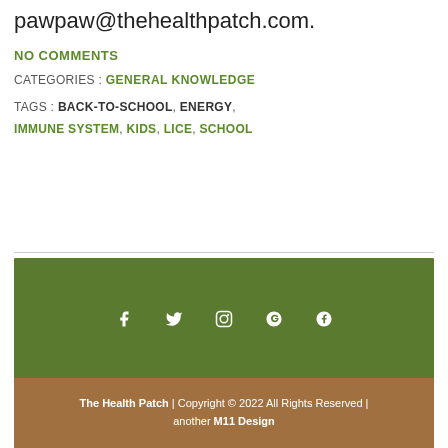pawpaw@thehealthpatch.com.
NO COMMENTS
CATEGORIES : GENERAL KNOWLEDGE
TAGS : BACK-TO-SCHOOL, ENERGY, IMMUNE SYSTEM, KIDS, LICE, SCHOOL
The Health Patch | Copyright © 2022 All Rights Reserved | another M11 Design